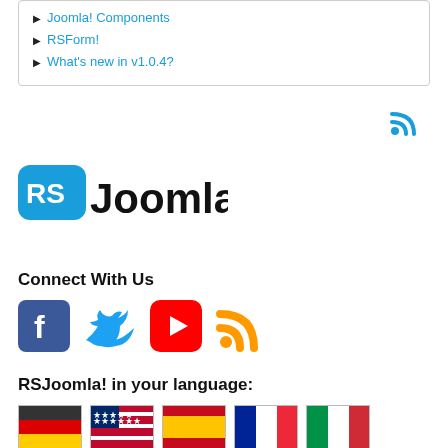Joomla! Components
RSForm!
What's new in v1.0.4?
[Figure (logo): RSJoomla! logo - blue RS badge with Joomla! text]
Connect With Us
[Figure (infographic): Social media icons: Facebook, Twitter, YouTube, RSS feed]
RSJoomla! in your language:
[Figure (infographic): Country flags: Germany, USA, Spain, France, Italy]